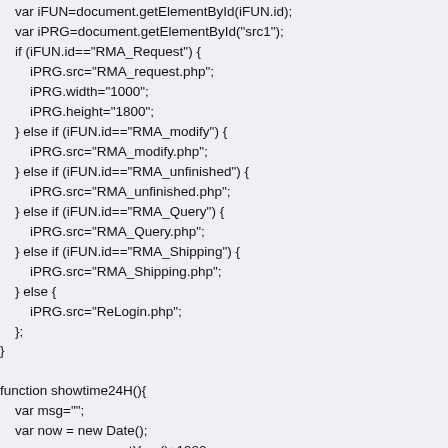var iFUN=document.getElementById(iFUN.id);
    var iPRG=document.getElementById("src1");
    if (iFUN.id=="RMA_Request") {
        iPRG.src="RMA_request.php";
        iPRG.width="1000";
        iPRG.height="1800";
    } else if (iFUN.id=="RMA_modify") {
        iPRG.src="RMA_modify.php";
    } else if (iFUN.id=="RMA_unfinished") {
        iPRG.src="RMA_unfinished.php";
    } else if (iFUN.id=="RMA_Query") {
        iPRG.src="RMA_Query.php";
    } else if (iFUN.id=="RMA_Shipping") {
        iPRG.src="RMA_Shipping.php";
    } else {
        iPRG.src="ReLogin.php";
    };
}

function showtime24H(){
    var msg="";
    var now = new Date();
    var years = now.getYear()+1900;
    var months = now.getMonth()+1;
    var days = now.getDate();
    var hours = now.getHours();
    var minutes = now.getMinutes();
    var seconds = now.getSeconds();